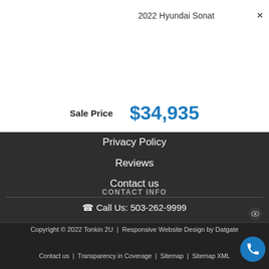2022 Hyundai Sonat
Sale Price  $34,935
Privacy Policy
Reviews
Contact us
CONTACT INFO
Call Us: 503-262-9999
Copyright © 2022 Tonkin 2U  |  Responsive Website Design by Datgate
Contact us  |  Transparency in Coverage  |  Sitemap  |  Sitemap XML